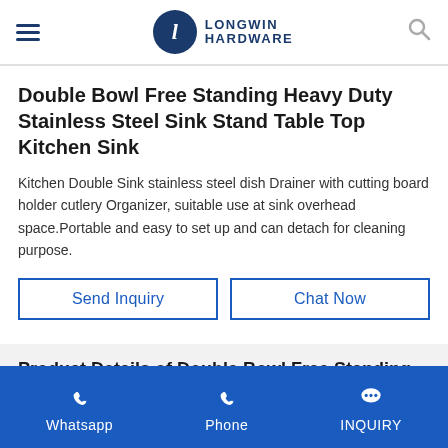Longwin Hardware
Double Bowl Free Standing Heavy Duty Stainless Steel Sink Stand Table Top Kitchen Sink
Kitchen Double Sink stainless steel dish Drainer with cutting board holder cutlery Organizer, suitable use at sink overhead space.Portable and easy to set up and can detach for cleaning purpose.
Send Inquiry | Chat Now
Product Details of Double Bowl Free Standing Heavy Duty Stainless Steel Sink Stand Table Top Kitchen Sink
Whatsapp  Phone  INQUIRY